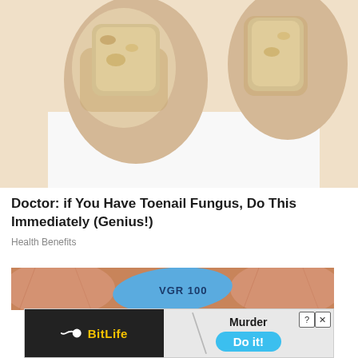[Figure (photo): Close-up photo of toenails with fungal infection on white background]
Doctor: if You Have Toenail Fungus, Do This Immediately (Genius!)
Health Benefits
[Figure (photo): Close-up photo of fingers holding a blue diamond-shaped pill (Viagra VGR 100)]
[Figure (screenshot): BitLife game advertisement banner with Murder / Do it! call to action]